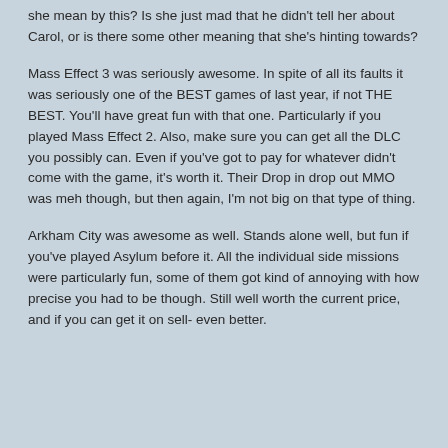she mean by this? Is she just mad that he didn't tell her about Carol, or is there some other meaning that she's hinting towards?
Mass Effect 3 was seriously awesome. In spite of all its faults it was seriously one of the BEST games of last year, if not THE BEST. You'll have great fun with that one. Particularly if you played Mass Effect 2. Also, make sure you can get all the DLC you possibly can. Even if you've got to pay for whatever didn't come with the game, it's worth it. Their Drop in drop out MMO was meh though, but then again, I'm not big on that type of thing.
Arkham City was awesome as well. Stands alone well, but fun if you've played Asylum before it. All the individual side missions were particularly fun, some of them got kind of annoying with how precise you had to be though. Still well worth the current price, and if you can get it on sell- even better.